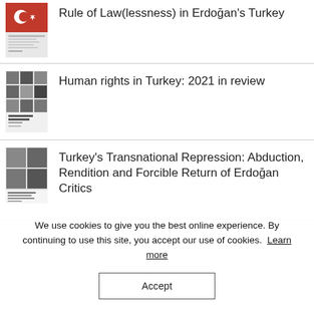Rule of Law(lessness) in Erdoğan's Turkey
Human rights in Turkey: 2021 in review
Turkey's Transnational Repression: Abduction, Rendition and Forcible Return of Erdoğan Critics
We use cookies to give you the best online experience. By continuing to use this site, you accept our use of cookies. Learn more
Accept